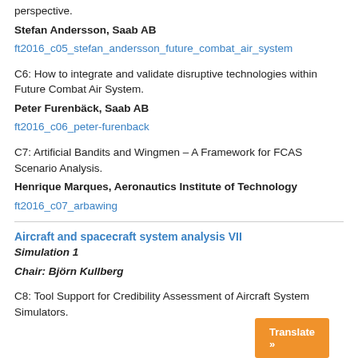perspective.
Stefan Andersson, Saab AB
ft2016_c05_stefan_andersson_future_combat_air_system
C6: How to integrate and validate disruptive technologies within Future Combat Air System.
Peter Furenbäck, Saab AB
ft2016_c06_peter-furenback
C7: Artificial Bandits and Wingmen – A Framework for FCAS Scenario Analysis.
Henrique Marques, Aeronautics Institute of Technology
ft2016_c07_arbawing
Aircraft and spacecraft system analysis VII
Simulation 1
Chair: Björn Kullberg
C8: Tool Support for Credibility Assessment of Aircraft System Simulators.